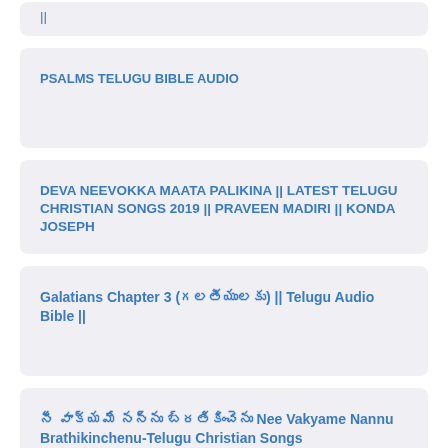||
PSALMS TELUGU BIBLE AUDIO
DEVA NEEVOKKA MAATA PALIKINA || LATEST TELUGU CHRISTIAN SONGS 2019 || PRAVEEN MADIRI || KONDA JOSEPH
Galatians Chapter 3 (గలతీయులకు) || Telugu Audio Bible ||
నీ వాక్యమే నన్ను బ్రతికించెను Nee Vakyame Nannu Brathikinchenu-Telugu Christian Songs